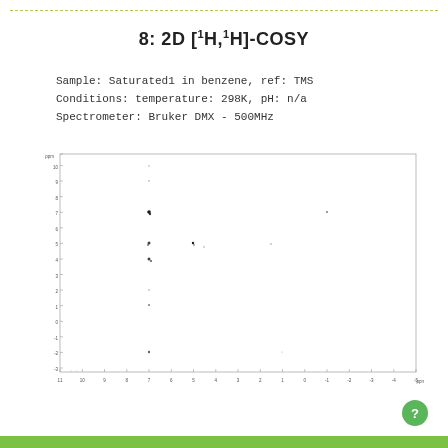8: 2D [1H,1H]-COSY
Sample: Saturated1 in benzene, ref: TMS
Conditions: temperature: 298K, pH: n/a
Spectrometer: Bruker DMX - 500MHz
[Figure (continuous-plot): 2D COSY NMR spectrum plot. X-axis labeled ppm ranging from 11 to -5. Y-axis labeled ppm ranging approximately from -3 to 11. Multiple off-diagonal cross-peaks visible at various positions indicating proton-proton correlations. Diagonal peaks and cross-peaks scattered at positions corresponding to aromatic (~7 ppm) and aliphatic regions.]